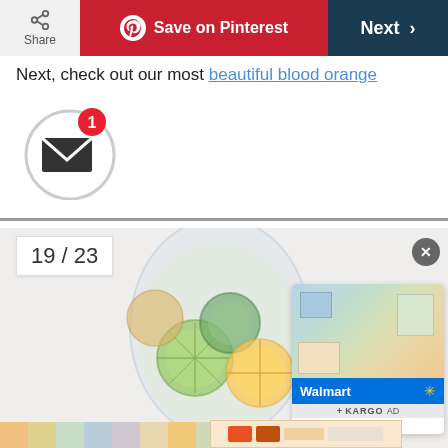Share | Save on Pinterest | Next >
Next, check out our most beautiful blood orange
[Figure (screenshot): Email notification icon: envelope in a circle with red badge showing '1']
[Figure (photo): Glass pitcher filled with sliced citrus fruits (lime, lemon, orange) and cucumber slices, with a glass beside it on a white background. Counter shows 19/23. Walmart advertisement overlay in bottom right corner.]